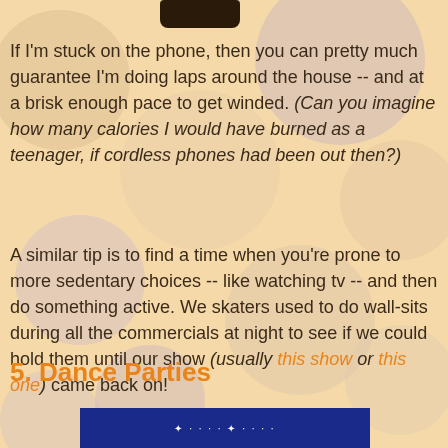If I'm stuck on the phone, then you can pretty much guarantee I'm doing laps around the house -- and at a brisk enough pace to get winded. (Can you imagine how many calories I would have burned as a teenager, if cordless phones had been out then?)
A similar tip is to find a time when you're prone to more sedentary choices -- like watching tv -- and then do something active. We skaters used to do wall-sits during all the commercials at night to see if we could hold them until our show (usually this show or this one) came back on!
5. Dance Parties